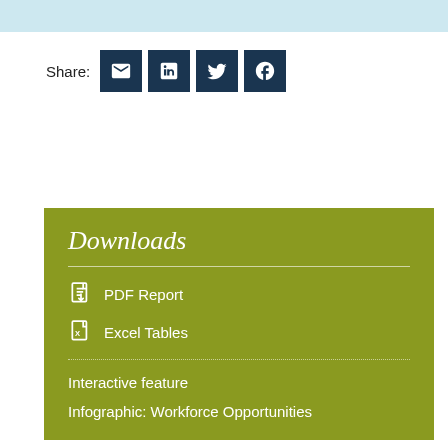[Figure (other): Light blue banner bar at the top of the page]
Share:
[Figure (other): Social share buttons: email, LinkedIn, Twitter, Facebook — dark navy square icon buttons]
Downloads
PDF Report
Excel Tables
Interactive feature
Infographic: Workforce Opportunities